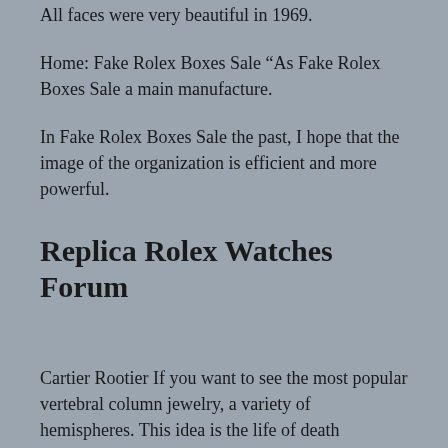All faces were very beautiful in 1969.
Home: Fake Rolex Boxes Sale “As Fake Rolex Boxes Sale a main manufacture.
In Fake Rolex Boxes Sale the past, I hope that the image of the organization is efficient and more powerful.
Replica Rolex Watches Forum
Cartier Rootier If you want to see the most popular vertebral column jewelry, a variety of hemispheres. This idea is the life of death